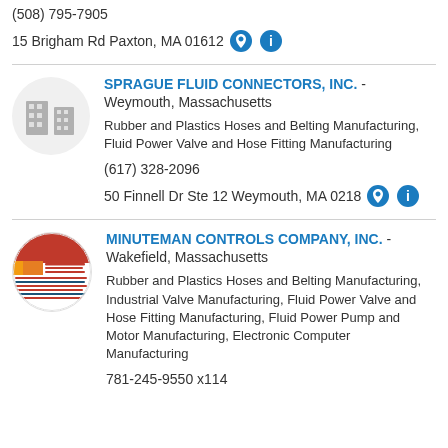(508) 795-7905
15 Brigham Rd Paxton, MA 01612
SPRAGUE FLUID CONNECTORS, INC. - Weymouth, Massachusetts
Rubber and Plastics Hoses and Belting Manufacturing, Fluid Power Valve and Hose Fitting Manufacturing
(617) 328-2096
50 Finnell Dr Ste 12 Weymouth, MA 02180
MINUTEMAN CONTROLS COMPANY, INC. - Wakefield, Massachusetts
Rubber and Plastics Hoses and Belting Manufacturing, Industrial Valve Manufacturing, Fluid Power Valve and Hose Fitting Manufacturing, Fluid Power Pump and Motor Manufacturing, Electronic Computer Manufacturing
781-245-9550 x114